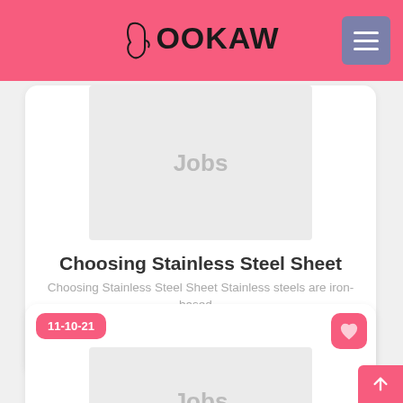BOOKAW
[Figure (screenshot): Jobs placeholder image (light grey rectangle with 'Jobs' text)]
Choosing Stainless Steel Sheet
Choosing Stainless Steel Sheet Stainless steels are iron-based...
Gratis
A Coruña
11-10-21
[Figure (screenshot): Jobs placeholder image (light grey rectangle with 'Jobs' text) — second card]